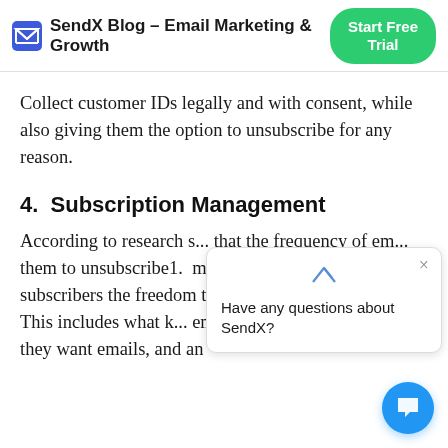SendX Blog - Email Marketing & Growth | Start Free Trial
Collect customer IDs legally and with consent, while also giving them the option to unsubscribe for any reason.
4.  Subscription Management
According to research s... that the frequency of em... them to unsubscribe1. ... management, you can give subscribers the freedom to manage their preferences. This includes what k... emails they want, how often they want emails, and an
Have any questions about SendX?